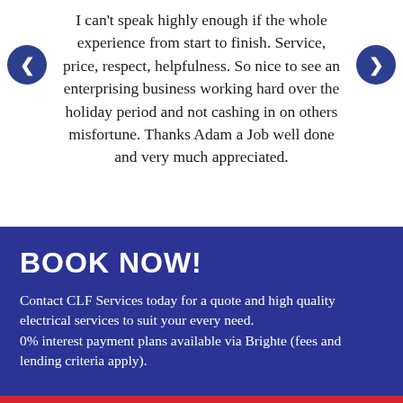I can't speak highly enough if the whole experience from start to finish. Service, price, respect, helpfulness. So nice to see an enterprising business working hard over the holiday period and not cashing in on others misfortune. Thanks Adam a Job well done and very much appreciated.
BOOK NOW!
Contact CLF Services today for a quote and high quality electrical services to suit your every need. 0% interest payment plans available via Brighte (fees and lending criteria apply).